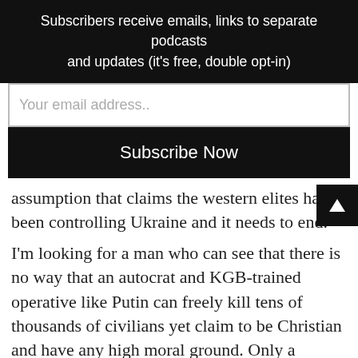Subscribers receive emails, links to separate podcasts and updates (it's free, double opt-in)
Your email address..
Subscribe Now
assumption that claims the western elites have been controlling Ukraine and it needs to end.
I'm looking for a man who can see that there is no way that an autocrat and KGB-trained operative like Putin can freely kill tens of thousands of civilians yet claim to be Christian and have any high moral ground. Only a reprobate would think otherwise. The alt-media claim that Putin is Christian doesn't conform to his actions and aspirations. Russian citizens have no real rights as he claims he's killing many people all in the name